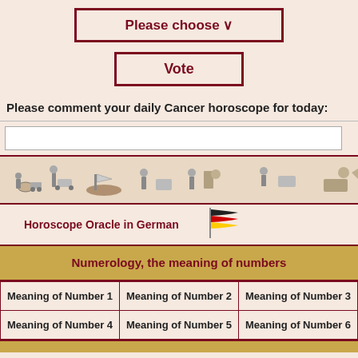Please choose ∨
Vote
Please comment your daily Cancer horoscope for today:
[Figure (illustration): Decorative horizontal strip with black and white illustrations of people and objects in historical/astrological style]
Horoscope Oracle in German
[Figure (illustration): German flag waving]
| Numerology, the meaning of numbers |
| --- |
| Meaning of Number 1 | Meaning of Number 2 | Meaning of Number 3 |
| Meaning of Number 4 | Meaning of Number 5 | Meaning of Number 6 |